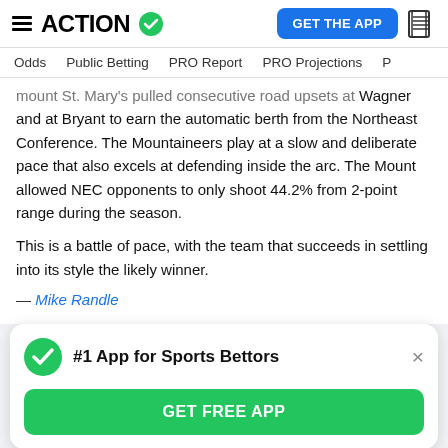ACTION
GET THE APP
Odds | Public Betting | PRO Report | PRO Projections
mount St. Mary's pulled consecutive road upsets at Wagner and at Bryant to earn the automatic berth from the Northeast Conference. The Mountaineers play at a slow and deliberate pace that also excels at defending inside the arc. The Mount allowed NEC opponents to only shoot 44.2% from 2-point range during the season.
This is a battle of pace, with the team that succeeds in settling into its style the likely winner.
— Mike Randle
[Figure (infographic): Promotional card for Action Network app: green checkmark icon, bold title '#1 App for Sports Bettors', close button (×), and a green 'GET FREE APP' button]
to Advance to Each Round of